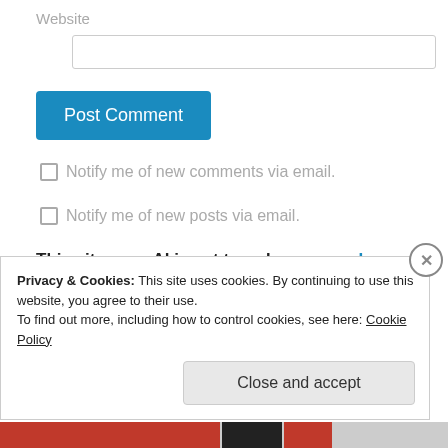Website
Post Comment
Notify me of new comments via email.
Notify me of new posts via email.
This site uses Akismet to reduce spam. Learn how
Privacy & Cookies: This site uses cookies. By continuing to use this website, you agree to their use.
To find out more, including how to control cookies, see here: Cookie Policy
Close and accept